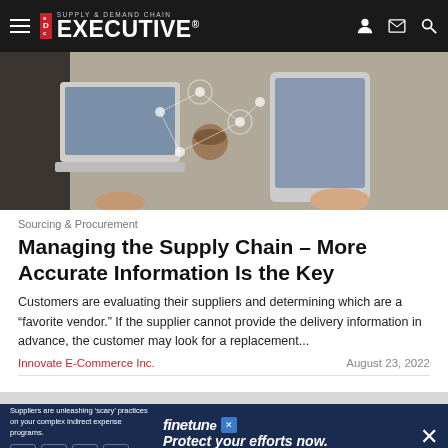Supply & Demand Chain Executive
[Figure (photo): Overhead view of people working at a table with laptops, tablet, and coffee cups, with digital network overlay graphics]
Sourcing & Procurement
Managing the Supply Chain – More Accurate Information Is the Key
Customers are evaluating their suppliers and determining which are a "favorite vendor." If the supplier cannot provide the delivery information in advance, the customer may look for a replacement...
Innovate E-Commerce Inc.    August 23, 2022
[Figure (screenshot): Advertisement banner: finetune - Suppliers are unleashing 'scary' practices on your complex indirect expense programs. Protect your efforts now.]